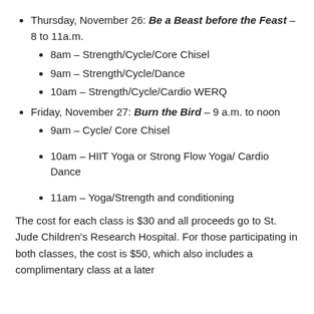Thursday, November 26: Be a Beast before the Feast – 8 to 11a.m.
8am – Strength/Cycle/Core Chisel
9am – Strength/Cycle/Dance
10am – Strength/Cycle/Cardio WERQ
Friday, November 27: Burn the Bird – 9 a.m. to noon
9am – Cycle/ Core Chisel
10am – HIIT Yoga or Strong Flow Yoga/ Cardio Dance
11am – Yoga/Strength and conditioning
The cost for each class is $30 and all proceeds go to St. Jude Children's Research Hospital. For those participating in both classes, the cost is $50, which also includes a complimentary class at a later